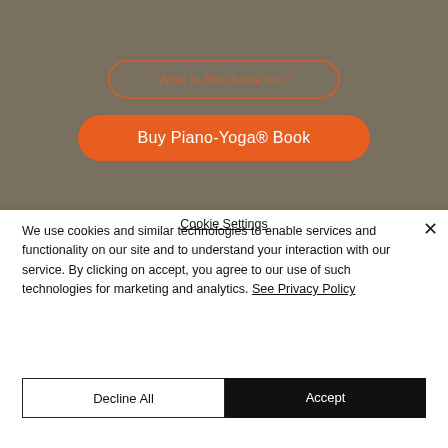[Figure (screenshot): Website screenshot showing a brownish-olive background with two buttons: an outline button with orange border (partially legible text) and a solid orange rounded button labeled 'Buy Piano-Yoga® Book']
We use cookies and similar technologies to enable services and functionality on our site and to understand your interaction with our service. By clicking on accept, you agree to our use of such technologies for marketing and analytics. See Privacy Policy
Decline All
Accept
Cookie Settings